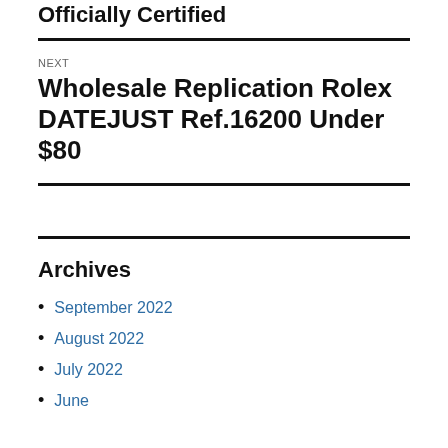Officially Certified
NEXT
Wholesale Replication Rolex DATEJUST Ref.16200 Under $80
Archives
September 2022
August 2022
July 2022
June 2022